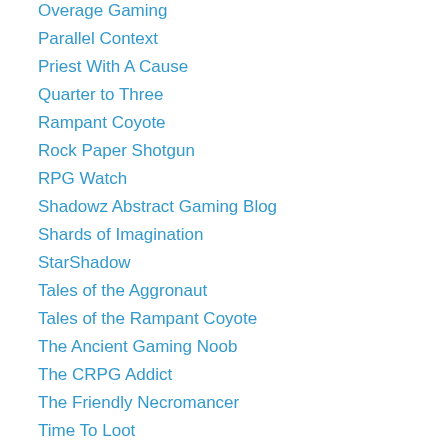Overage Gaming
Parallel Context
Priest With A Cause
Quarter to Three
Rampant Coyote
Rock Paper Shotgun
RPG Watch
Shadowz Abstract Gaming Blog
Shards of Imagination
StarShadow
Tales of the Aggronaut
Tales of the Rampant Coyote
The Ancient Gaming Noob
The CRPG Addict
The Friendly Necromancer
Time To Loot
Tome Of The Ancient
Unidentified Signal Source
Wandering Around Arda
Warcraft Pete